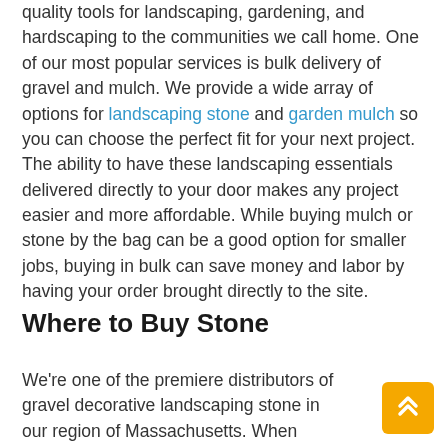quality tools for landscaping, gardening, and hardscaping to the communities we call home. One of our most popular services is bulk delivery of gravel and mulch. We provide a wide array of options for landscaping stone and garden mulch so you can choose the perfect fit for your next project. The ability to have these landscaping essentials delivered directly to your door makes any project easier and more affordable. While buying mulch or stone by the bag can be a good option for smaller jobs, buying in bulk can save money and labor by having your order brought directly to the site.
Where to Buy Stone
We're one of the premiere distributors of gravel decorative landscaping stone in our region of Massachusetts. When you're shopping for stone,